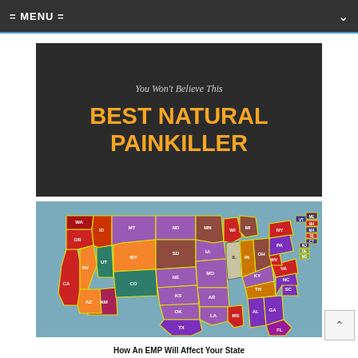= MENU =
[Figure (infographic): Dark banner with text 'You Won't Believe This' and 'BEST NATURAL PAINKILLER' in large orange bold letters on dark background]
[Figure (map): Color-coded map of the United States showing states labeled with abbreviations (WA, OR, CA, ID, NV, UT, AZ, MT, WY, CO, NM, ND, SD, NE, KS, OK, TX, MN, IA, MO, AR, LA, WI, IL, IN, MS, MI, OH, KY, TN, AL, GA, FL, SC, NC, VA, WV, PA, NY, ME, VT, NH, MA, RI, CT, NJ, DE, MD, AK, HI). States are colored in red, dark red, orange, teal, purple, maroon, and other colors suggesting different categories.]
How An EMP Will Affect Your State